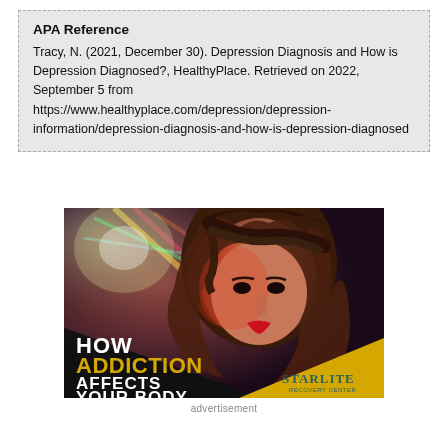APA Reference
Tracy, N. (2021, December 30). Depression Diagnosis and How is Depression Diagnosed?, HealthyPlace. Retrieved on 2022, September 5 from https://www.healthyplace.com/depression/depression-information/depression-diagnosis-and-how-is-depression-diagnosed
[Figure (illustration): Advertisement image: Young woman with serious expression in front of colorful nightclub lights. Black triangle overlay in lower left with white bold text 'HOW ADDICTION AFFECTS YOUR BODY' and yellow text 'ADDICTION'. Gold/yellow triangle in lower right with dark teal 'STARLITE' text and 'RECOVERY CENTER' below.]
advertisement